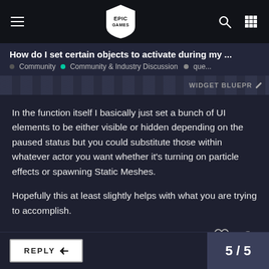Epic Games — Navigation bar
How do I set certain objects to activate during my ...
Community  •  Community & Industry Discussion  •  que...
WIDGET BLUEPR
In the function itself I basically just set a bunch of UI elements to be either visible or hidden depending on the paused status but you could substitute those within whatever actor you want whether it's turning on particle effects or spawning Static Meshes.

Hopefully this at least slightly helps with what you are trying to accomplish.
REPLY  5 / 5